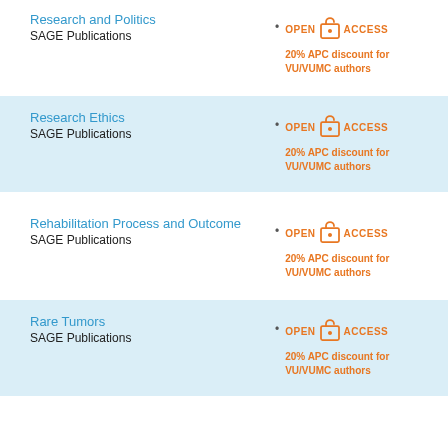Research and Politics
SAGE Publications
[Figure (logo): Open Access logo with text: OPEN ACCESS, 20% APC discount for VU/VUMC authors]
Research Ethics
SAGE Publications
[Figure (logo): Open Access logo with text: OPEN ACCESS, 20% APC discount for VU/VUMC authors]
Rehabilitation Process and Outcome
SAGE Publications
[Figure (logo): Open Access logo with text: OPEN ACCESS, 20% APC discount for VU/VUMC authors]
Rare Tumors
SAGE Publications
[Figure (logo): Open Access logo with text: OPEN ACCESS, 20% APC discount for VU/VUMC authors]